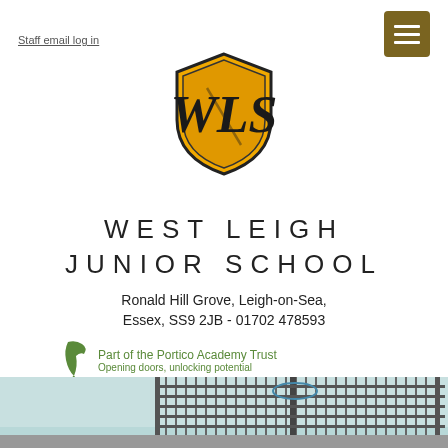Staff email log in
[Figure (logo): West Leigh Junior School shield logo — gold/yellow shield with black WLS monogram initials]
WEST LEIGH JUNIOR SCHOOL
Ronald Hill Grove, Leigh-on-Sea, Essex, SS9 2JB - 01702 478593
Part of the Portico Academy Trust
Opening doors, unlocking potential
[Figure (photo): Photo of school exterior showing fence/railing with light-coloured building behind]